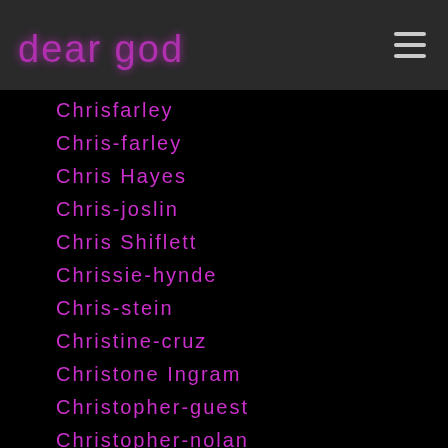dear god
Chrisfarley
Chris-farley
Chris Hayes
Chris-joslin
Chris Shiflett
Chrissie-hynde
Chris-stein
Christine-cruz
Christone Ingram
Christopher-guest
Christopher-nolan
Chris-webber
Chromeo
Chuck Berry
Chuck-brown
Chuck D
Chuck Bukowski